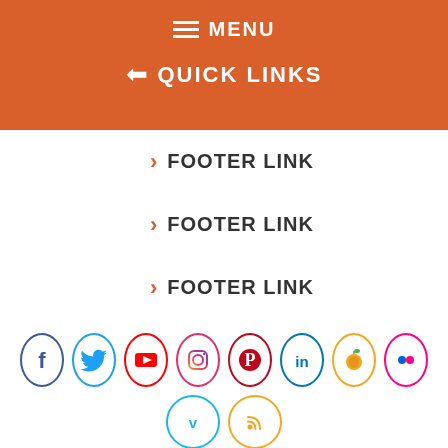MENU
QUICK LINKS
FOOTER LINK
FOOTER LINK
FOOTER LINK
[Figure (infographic): Social media icons in circles: Facebook, Twitter, YouTube, Instagram, Pinterest, LinkedIn, Peach/fruit, Flickr (top row); Vimeo, RSS (bottom row)]